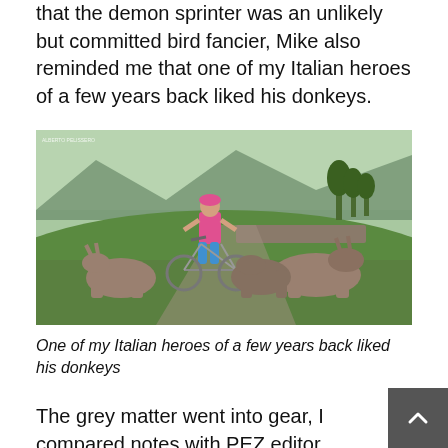that the demon sprinter was an unlikely but committed bird fancier, Mike also reminded me that one of my Italian heroes of a few years back liked his donkeys.
[Figure (photo): A cyclist in a Lampre-Farnese Vini pink and blue jersey stands with a bicycle among several donkeys on a green hillside with mountains in the background.]
One of my Italian heroes of a few years back liked his donkeys
The grey matter went into gear, I compared notes with PEZ editor, Alastair Hamilton and